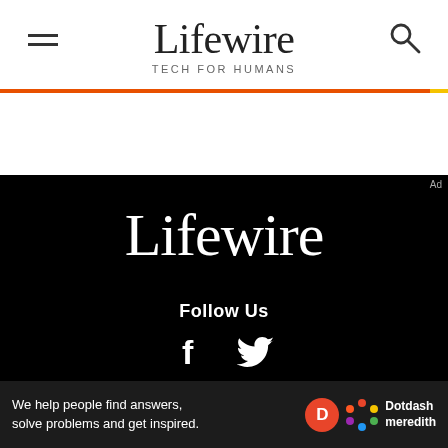Lifewire TECH FOR HUMANS
[Figure (logo): Lifewire logo in white on black background]
Follow Us
[Figure (illustration): Facebook and Twitter social media icons]
Get Daily Software & Apps Tech News
ONE-TAP SIGN UP
We help people find answers, solve problems and get inspired. Dotdash meredith